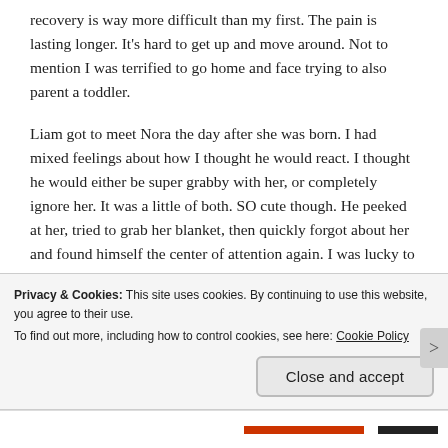recovery is way more difficult than my first. The pain is lasting longer. It's hard to get up and move around. Not to mention I was terrified to go home and face trying to also parent a toddler.
Liam got to meet Nora the day after she was born. I had mixed feelings about how I thought he would react. I thought he would either be super grabby with her, or completely ignore her. It was a little of both. SO cute though. He peeked at her, tried to grab her blanket, then quickly forgot about her and found himself the center of attention again. I was lucky to have a photographer, Shannon Lee, come to photograph the meeting. Photos
Privacy & Cookies: This site uses cookies. By continuing to use this website, you agree to their use.
To find out more, including how to control cookies, see here: Cookie Policy
Close and accept